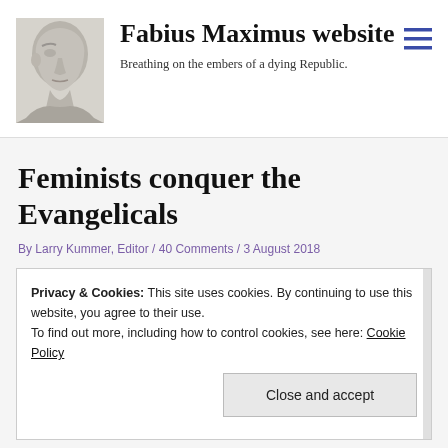[Figure (illustration): Grayscale portrait bust of a Roman figure, facing left, bald head, classical style sculpture rendering.]
Fabius Maximus website
Breathing on the embers of a dying Republic.
Feminists conquer the Evangelicals
By Larry Kummer, Editor / 40 Comments / 3 August 2018
Privacy & Cookies: This site uses cookies. By continuing to use this website, you agree to their use.
To find out more, including how to control cookies, see here: Cookie Policy
Close and accept
Father's Day) and urge women to have better self-esteem. They urge radical